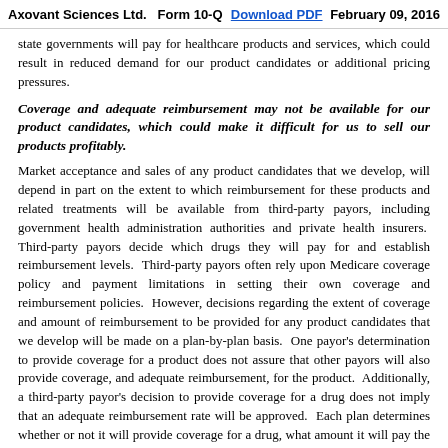Axovant Sciences Ltd.   Form 10-Q   Download PDF   February 09, 2016
state governments will pay for healthcare products and services, which could result in reduced demand for our product candidates or additional pricing pressures.
Coverage and adequate reimbursement may not be available for our product candidates, which could make it difficult for us to sell our products profitably.
Market acceptance and sales of any product candidates that we develop, will depend in part on the extent to which reimbursement for these products and related treatments will be available from third-party payors, including government health administration authorities and private health insurers.  Third-party payors decide which drugs they will pay for and establish reimbursement levels.  Third-party payors often rely upon Medicare coverage policy and payment limitations in setting their own coverage and reimbursement policies.  However, decisions regarding the extent of coverage and amount of reimbursement to be provided for any product candidates that we develop will be made on a plan-by-plan basis.  One payor's determination to provide coverage for a product does not assure that other payors will also provide coverage, and adequate reimbursement, for the product.  Additionally, a third-party payor's decision to provide coverage for a drug does not imply that an adequate reimbursement rate will be approved.  Each plan determines whether or not it will provide coverage for a drug, what amount it will pay the manufacturer for the drug, and on what tier of its formulary the drug will be placed.  The position of a drug on a formulary generally determines the co-payment that a patient will need to make to obtain the drug and can strongly influence the adoption of a drug by patients and physicians.  Patients who are prescribed treatments for their conditions and providers prescribing such